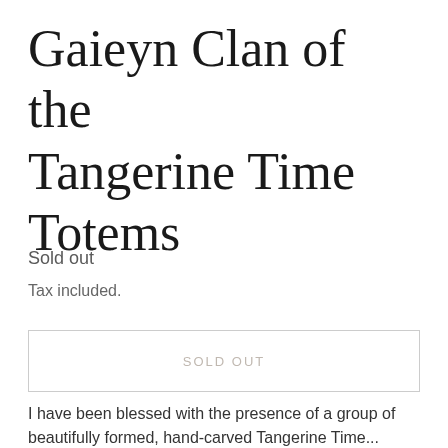Gaieyn Clan of the Tangerine Time Totems
Sold out
Tax included.
SOLD OUT
I have been blessed with the presence of a group of beautifully formed, hand-carved Tangerine Time...